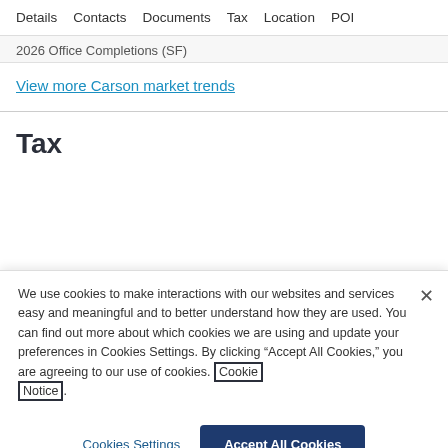Details   Contacts   Documents   Tax   Location   POI
2026 Office Completions (SF)
View more Carson market trends
Tax
We use cookies to make interactions with our websites and services easy and meaningful and to better understand how they are used. You can find out more about which cookies we are using and update your preferences in Cookies Settings. By clicking “Accept All Cookies,” you are agreeing to our use of cookies. Cookie Notice.
Cookies Settings
Accept All Cookies